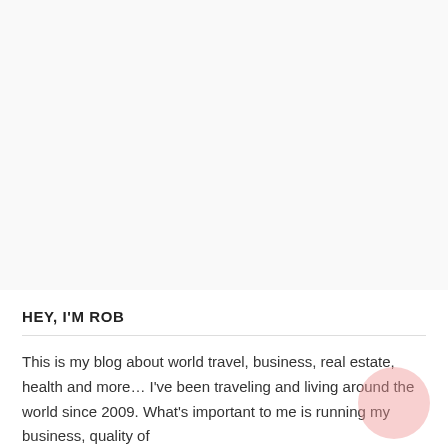[Figure (other): Large blank/light gray area representing an image or empty space at the top of the page]
HEY, I'M ROB
This is my blog about world travel, business, real estate, health and more… I've been traveling and living around the world since 2009. What's important to me is running my business, quality of